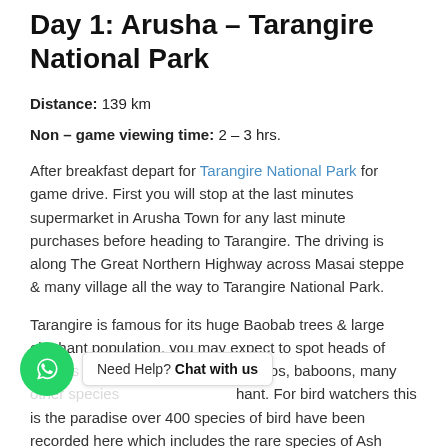Day 1: Arusha – Tarangire National Park
Distance: 139 km
Non – game viewing time: 2 – 3 hrs.
After breakfast depart for Tarangire National Park for game drive. First you will stop at the last minutes supermarket in Arusha Town for any last minute purchases before heading to Tarangire. The driving is along The Great Northern Highway across Masai steppe & many village all the way to Tarangire National Park.
Tarangire is famous for its huge Baobab trees & large elephant population, you may expect to spot heads of [giraffes, buffaloes, zebras,] hippos, baboons, many [other species, leopard, lion, ele]phant. For bird watchers this is the paradise over 400 species of bird have been recorded here which includes the rare species of Ash Staling,